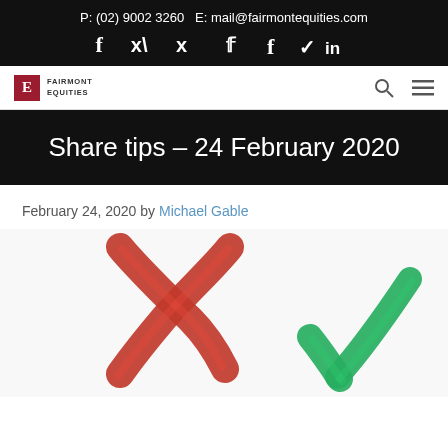P: (02) 9002 3260   E: mail@fairmontequities.com
[Figure (logo): Fairmont Equities logo with red E box and text]
Share tips – 24 February 2020
February 24, 2020 by Michael Gable
[Figure (photo): Painted red X cross mark and green checkmark on white background]